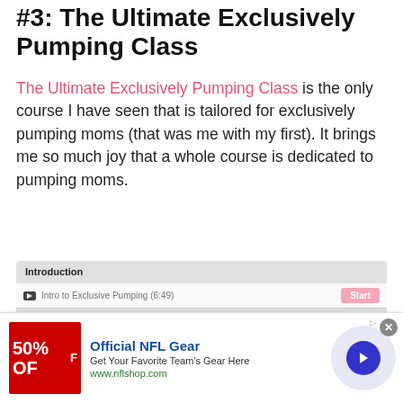#3: The Ultimate Exclusively Pumping Class
The Ultimate Exclusively Pumping Class is the only course I have seen that is tailored for exclusively pumping moms (that was me with my first). It brings me so much joy that a whole course is dedicated to pumping moms.
| Section | Lesson | Action |
| --- | --- | --- |
| Introduction | Intro to Exclusive Pumping (6:49) | Start |
| Step 1: Get Your Gear | Choose Your Perfect Pump (6:26) | Start |
| Step 1: Get Your Gear | How to Get Your Pump (2:42) | Start |
[Figure (screenshot): Advertisement banner for Official NFL Gear showing 50% OFF, blue arrow button, and www.nflshop.com URL]